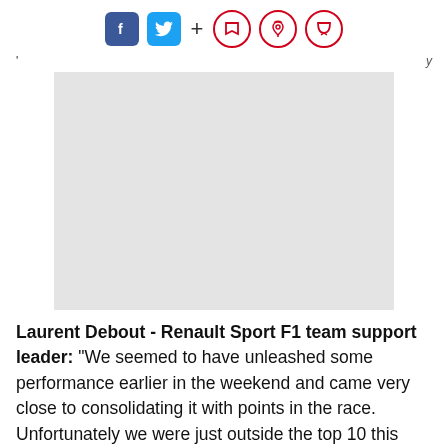Social share icons: Facebook, Twitter, +, bookmark, bell, comment
[Figure (photo): Light gray placeholder image rectangle]
Laurent Debout - Renault Sport F1 team support leader: "We seemed to have unleashed some performance earlier in the weekend and came very close to consolidating it with points in the race. Unfortunately we were just outside the top 10 this